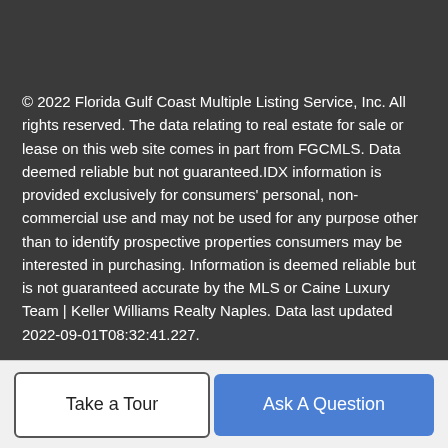© 2022 Florida Gulf Coast Multiple Listing Service, Inc. All rights reserved. The data relating to real estate for sale or lease on this web site comes in part from FGCMLS. Data deemed reliable but not guaranteed.IDX information is provided exclusively for consumers' personal, non-commercial use and may not be used for any purpose other than to identify prospective properties consumers may be interested in purchasing. Information is deemed reliable but is not guaranteed accurate by the MLS or Caine Luxury Team | Keller Williams Realty Naples. Data last updated 2022-09-01T08:32:41.227.
The data relating to real estate for sale on this limited electronic display come in part from the Broker Reciprocity Program (BR Program) of M.L.S. of Naples, Inc. Properties listed with brokerage firms other than Caine Luxury Team | Keller
Take a Tour
Ask A Question